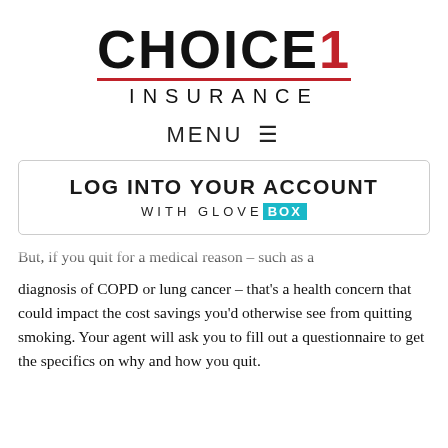[Figure (logo): Choice 1 Insurance logo with red '1' and red underline, 'INSURANCE' in spaced letters below]
MENU ☰
LOG INTO YOUR ACCOUNT
WITH GLOVEBOX
But, if you quit for a medical reason – such as a diagnosis of COPD or lung cancer – that's a health concern that could impact the cost savings you'd otherwise see from quitting smoking. Your agent will ask you to fill out a questionnaire to get the specifics on why and how you quit.